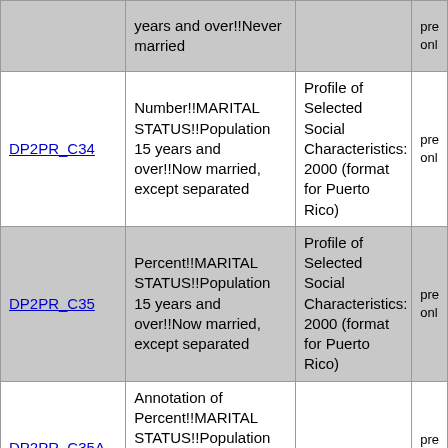| Variable | Description | Table | Access |
| --- | --- | --- | --- |
|  | years and over!!Never married |  | pre onl |
| DP2PR_C34 | Number!!MARITAL STATUS!!Population 15 years and over!!Now married, except separated | Profile of Selected Social Characteristics: 2000 (format for Puerto Rico) | pre onl |
| DP2PR_C35 | Percent!!MARITAL STATUS!!Population 15 years and over!!Now married, except separated | Profile of Selected Social Characteristics: 2000 (format for Puerto Rico) | pre onl |
| DP2PR_C35A | Annotation of Percent!!MARITAL STATUS!!Population 15 years and over!!Now married, except separated |  | pre onl |
| DP2PR_C36 | Number!!MARITAL STATUS!!Population 15 years and over!!Separated | Profile of Selected Social Characteristics: 2000 (format for Puerto Rico) | pre onl |